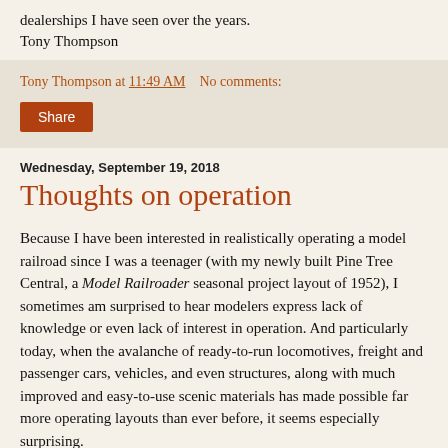dealerships I have seen over the years.
Tony Thompson
Tony Thompson at 11:49 AM    No comments:
Share
Wednesday, September 19, 2018
Thoughts on operation
Because I have been interested in realistically operating a model railroad since I was a teenager (with my newly built Pine Tree Central, a Model Railroader seasonal project layout of 1952), I sometimes am surprised to hear modelers express lack of knowledge or even lack of interest in operation. And particularly today, when the avalanche of ready-to-run locomotives, freight and passenger cars, vehicles, and even structures, along with much improved and easy-to-use scenic materials has made possible far more operating layouts than ever before, it seems especially surprising.